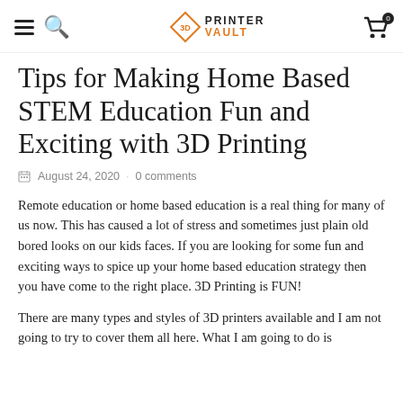3D PRINTER VAULT
Tips for Making Home Based STEM Education Fun and Exciting with 3D Printing
August 24, 2020 · 0 comments
Remote education or home based education is a real thing for many of us now. This has caused a lot of stress and sometimes just plain old bored looks on our kids faces. If you are looking for some fun and exciting ways to spice up your home based education strategy then you have come to the right place. 3D Printing is FUN!
There are many types and styles of 3D printers available and I am not going to try to cover them all here. What I am going to do is